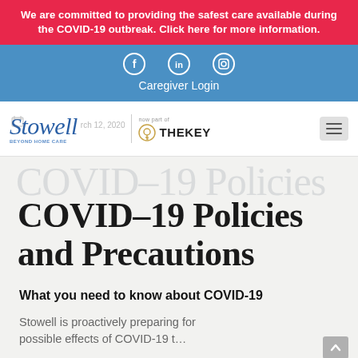We are committed to providing the safest care available during the COVID-19 outbreak. Click here for more information.
[Figure (screenshot): Blue navigation bar with social media icons (Facebook, LinkedIn, Instagram) and Caregiver Login link]
[Figure (logo): Stowell Beyond Home Care logo alongside 'now part of TheKey' branding with hamburger menu icon and date March 12, 2020]
COVID-19 Policies and Precautions
What you need to know about COVID-19
Stowell is proactively preparing for possible effects of COVID-19 t…